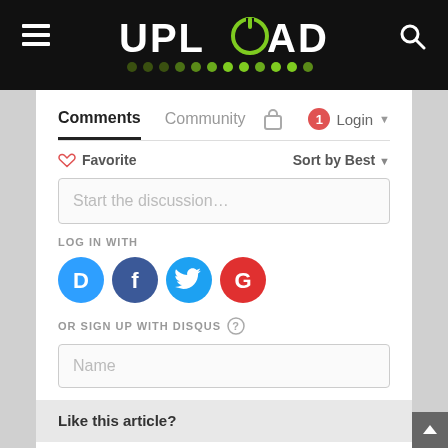UPLOAD
Comments  Community  Login
Favorite  Sort by Best
Start the discussion…
LOG IN WITH
[Figure (logo): Social login icons: Disqus (D), Facebook (f), Twitter bird, Google (G)]
OR SIGN UP WITH DISQUS
Name
Like this article?